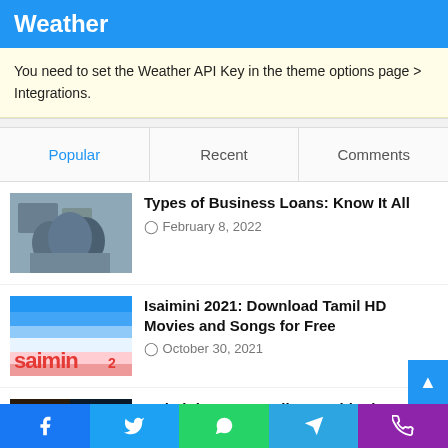Weather
You need to set the Weather API Key in the theme options page > Integrations.
Popular | Recent | Comments
Types of Business Loans: Know It All
February 8, 2022
Isaimini 2021: Download Tamil HD Movies and Songs for Free
October 30, 2021
Isaimini – New Tamil HD Dubbed Movies Download in 2021